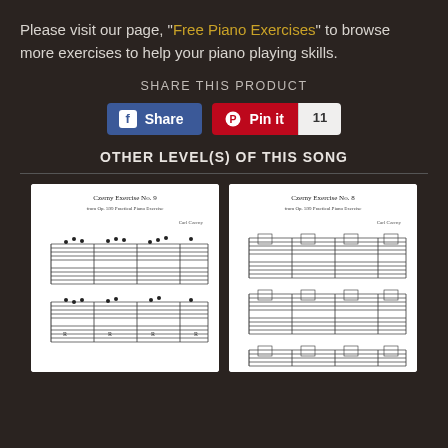Please visit our page, "Free Piano Exercises" to browse more exercises to help your piano playing skills.
SHARE THIS PRODUCT
[Figure (screenshot): Social share buttons: Facebook Share button and Pinterest Pin it button with count of 11]
OTHER LEVEL(S) OF THIS SONG
[Figure (photo): Sheet music thumbnail for Czerny Exercise No. 9 from Op. 599 Practical Piano Exercise]
[Figure (photo): Sheet music thumbnail for Czerny Exercise No. 8 from Op. 599 Practical Piano Exercise]